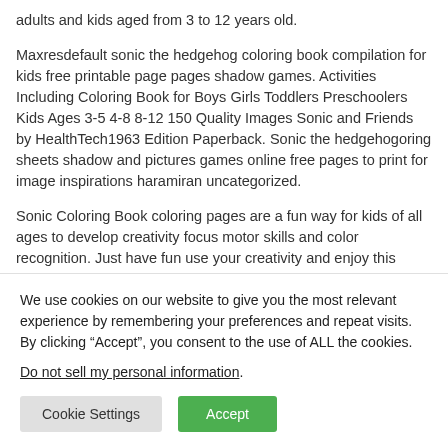adults and kids aged from 3 to 12 years old.
Maxresdefault sonic the hedgehog coloring book compilation for kids free printable page pages shadow games. Activities Including Coloring Book for Boys Girls Toddlers Preschoolers Kids Ages 3-5 4-8 8-12 150 Quality Images Sonic and Friends by HealthTech1963 Edition Paperback. Sonic the hedgehogoring sheets shadow and pictures games online free pages to print for image inspirations haramiran uncategorized.
Sonic Coloring Book coloring pages are a fun way for kids of all ages to develop creativity focus motor skills and color recognition. Just have fun use your creativity and enjoy this great game. Download
We use cookies on our website to give you the most relevant experience by remembering your preferences and repeat visits. By clicking “Accept”, you consent to the use of ALL the cookies.

Do not sell my personal information.

[Cookie Settings] [Accept]